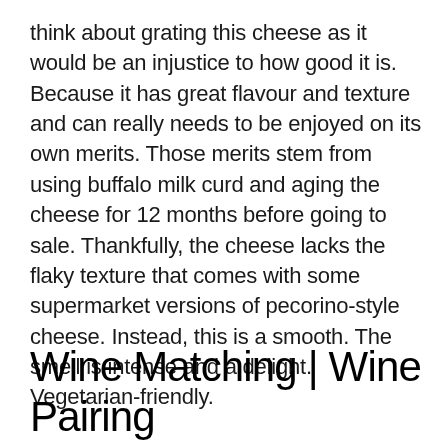think about grating this cheese as it would be an injustice to how good it is. Because it has great flavour and texture and can really needs to be enjoyed on its own merits. Those merits stem from using buffalo milk curd and aging the cheese for 12 months before going to sale. Thankfully, the cheese lacks the flaky texture that comes with some supermarket versions of pecorino-style cheese. Instead, this is a smooth. The smell is intense and a delight. Vegetarian-friendly.
Wine Matching | Wine Pairing